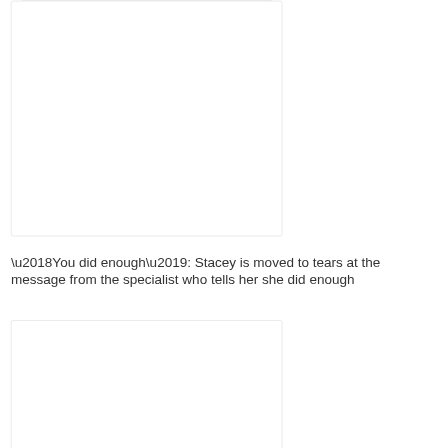[Figure (photo): A blank or white image placeholder with a light gray border, occupying the top portion of the page.]
‘You did enough’: Stacey is moved to tears at the message from the specialist who tells her she did enough
[Figure (photo): A blank or white image placeholder with a light gray border, occupying the bottom portion of the page.]